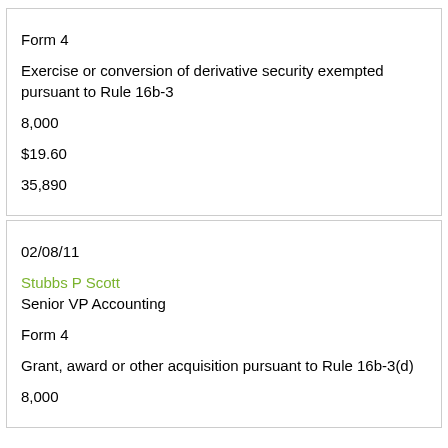Form 4
Exercise or conversion of derivative security exempted pursuant to Rule 16b-3
8,000
$19.60
35,890
02/08/11
Stubbs P Scott
Senior VP Accounting
Form 4
Grant, award or other acquisition pursuant to Rule 16b-3(d)
8,000